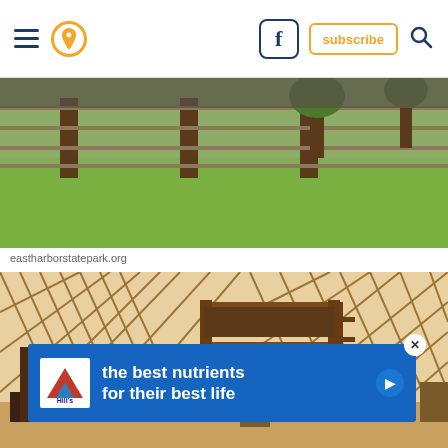Navigation bar with hamburger menu, location pin icon, Facebook icon, subscribe button, and search icon
[Figure (photo): Outdoor photo of East Harbor State Park showing green grass, wooden fence/lattice structure, and trees]
eastharborstatepark.org
[Figure (photo): Interior of a yurt at East Harbor State Park showing a wood and green cushion armchair, bunk beds, a dining table with chairs, and lattice diamond-pattern walls]
[Figure (other): Advertisement banner for Hill's pet food reading 'the best nutrients for their best life' with Hill's logo and blue background]